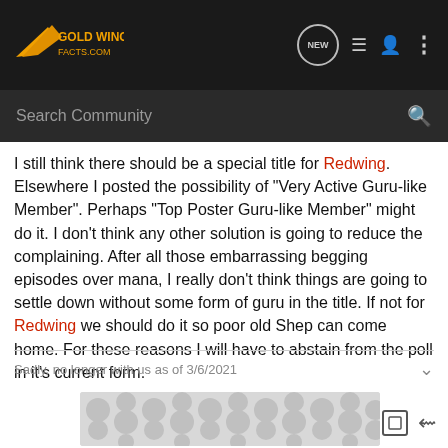[Figure (logo): Gold Wing Facts .com logo with wing icon on dark navigation bar]
Search Community
I still think there should be a special title for Redwing. Elsewhere I posted the possibility of "Very Active Guru-like Member". Perhaps "Top Poster Guru-like Member" might do it. I don't think any other solution is going to reduce the complaining. After all those embarrassing begging episodes over mana, I really don't think things are going to settle down without some form of guru in the title. If not for Redwing we should do it so poor old Shep can come home. For these reasons I will have to abstain from the poll in it's current form.
Sadly, no longer with us as of 3/6/2021
[Figure (photo): User avatar placeholder with grey dot/bubble pattern]